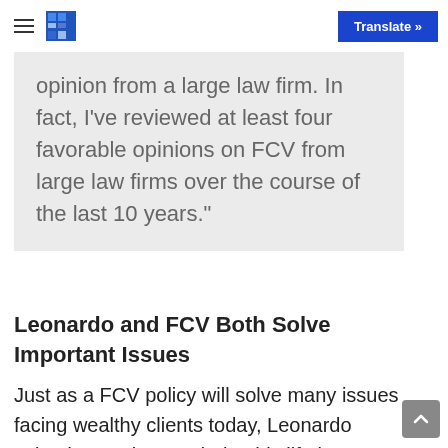Translate »
opinion from a large law firm. In fact, I've reviewed at least four favorable opinions on FCV from large law firms over the course of the last 10 years."
Leonardo and FCV Both Solve Important Issues
Just as a FCV policy will solve many issues facing wealthy clients today, Leonardo solved many issues during his lifetime, even before his